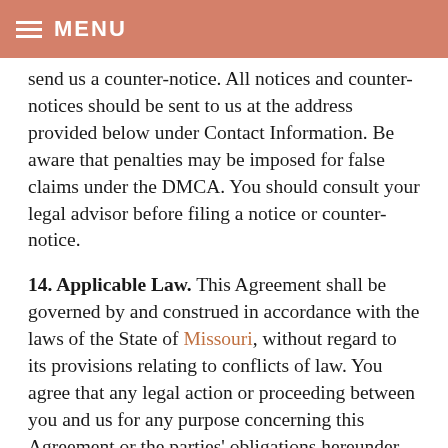MENU
send us a counter-notice. All notices and counter-notices should be sent to us at the address provided below under Contact Information. Be aware that penalties may be imposed for false claims under the DMCA. You should consult your legal advisor before filing a notice or counter-notice.
14. Applicable Law. This Agreement shall be governed by and construed in accordance with the laws of the State of Missouri, without regard to its provisions relating to conflicts of law. You agree that any legal action or proceeding between you and us for any purpose concerning this Agreement or the parties' obligations hereunder shall be brought exclusively in a court of competent. In light of the nature of this Agreement, you understand and agree that money damages may be insufficient to rectify a breach and that, consequently, we will be entitled to